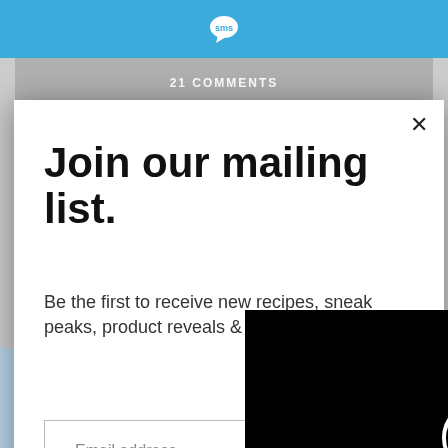[Figure (screenshot): Blue top bar with SMS chat bubble logo in white]
21 COMMENTS
Join our mailing list.
Be the first to receive new recipes, sneak peaks, product reveals & more.
Email address
Subscribe
[Figure (screenshot): Black video loading overlay with circular spinner and CLOSE button]
[Figure (photo): Product images strip at bottom: Finish dishwasher pods, scissors set, and what appears to be a book/movie cover]